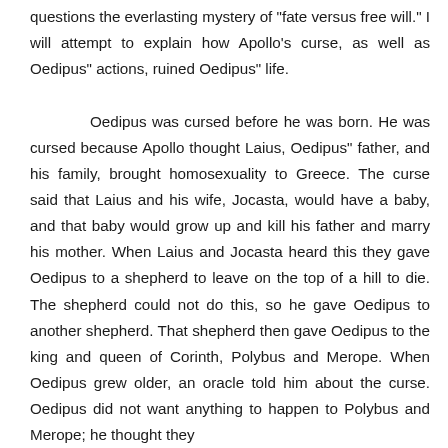questions the everlasting mystery of "fate versus free will." I will attempt to explain how Apollo's curse, as well as Oedipus" actions, ruined Oedipus" life.

    Oedipus was cursed before he was born. He was cursed because Apollo thought Laius, Oedipus" father, and his family, brought homosexuality to Greece. The curse said that Laius and his wife, Jocasta, would have a baby, and that baby would grow up and kill his father and marry his mother. When Laius and Jocasta heard this they gave Oedipus to a shepherd to leave on the top of a hill to die. The shepherd could not do this, so he gave Oedipus to another shepherd. That shepherd then gave Oedipus to the king and queen of Corinth, Polybus and Merope. When Oedipus grew older, an oracle told him about the curse. Oedipus did not want anything to happen to Polybus and Merope; he thought they